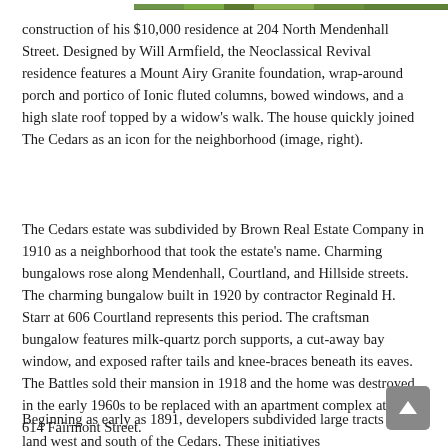[Figure (photo): Partial view of a tree or hedge with dense green foliage at the top of the page]
construction of his $10,000 residence at 204 North Mendenhall Street. Designed by Will Armfield, the Neoclassical Revival residence features a Mount Airy Granite foundation, wrap-around porch and portico of Ionic fluted columns, bowed windows, and a high slate roof topped by a widow's walk. The house quickly joined The Cedars as an icon for the neighborhood (image, right).
The Cedars estate was subdivided by Brown Real Estate Company in 1910 as a neighborhood that took the estate's name. Charming bungalows rose along Mendenhall, Courtland, and Hillside streets. The charming bungalow built in 1920 by contractor Reginald H. Starr at 606 Courtland represents this period. The craftsman bungalow features milk-quartz porch supports, a cut-away bay window, and exposed rafter tails and knee-braces beneath its eaves. The Battles sold their mansion in 1918 and the home was destroyed in the early 1960s to be replaced with an apartment complex at 610-614 Fairmont Street.
Beginning as early as 1891, developers subdivided large tracts of land west and south of the Cedars. These initiatives